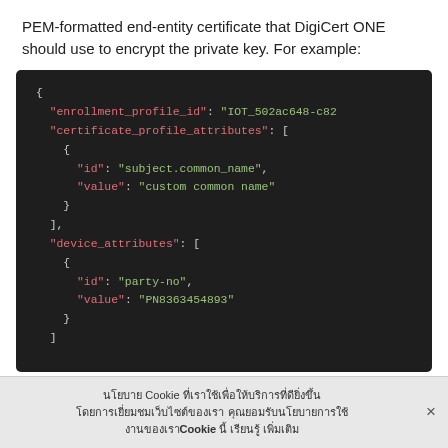PEM-formatted end-entity certificate that DigiCert ONE should use to encrypt the private key. For example:
[Figure (screenshot): Dark-themed JSON code block showing enrollment_profile_id, certificate_profile_attributes with id and value fields, and device_attributes with id and value fields.]
Cookie notice banner with Thai text and close button